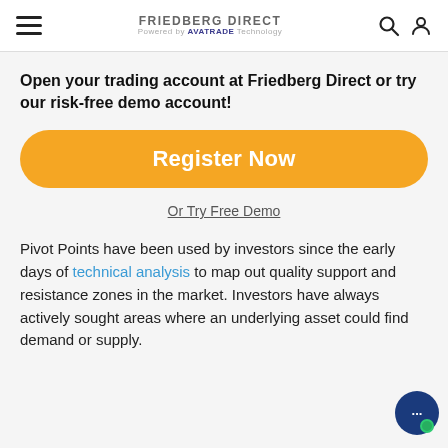FRIEDBERG DIRECT Powered by AVATRADE Technology
Open your trading account at Friedberg Direct or try our risk-free demo account!
[Figure (other): Orange rounded rectangle button with white text 'Register Now']
Or Try Free Demo
Pivot Points have been used by investors since the early days of technical analysis to map out quality support and resistance zones in the market. Investors have always actively sought areas where an underlying asset could find demand or supply.